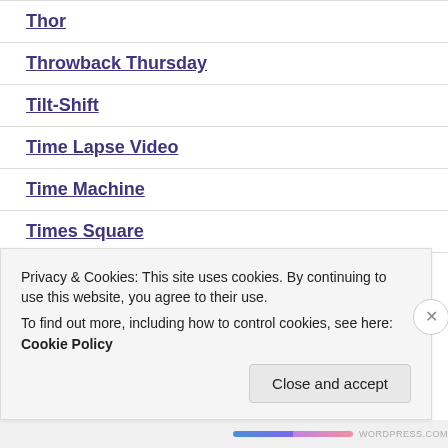Thor
Throwback Thursday
Tilt-Shift
Time Lapse Video
Time Machine
Times Square
Tools
Privacy & Cookies: This site uses cookies. By continuing to use this website, you agree to their use.
To find out more, including how to control cookies, see here: Cookie Policy